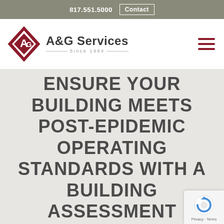817.551.5000   Contact
[Figure (logo): A&G Services logo — red diamond shape with stylized A&G lettering, with text 'A&G Services' and 'Since 1984' beside it]
ENSURE YOUR BUILDING MEETS POST-EPIDEMIC OPERATING STANDARDS WITH A BUILDING ASSESSMENT